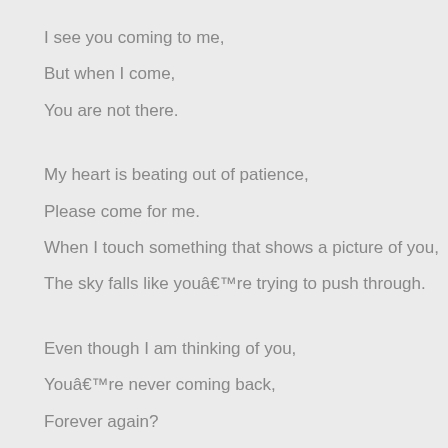I see you coming to me,
But when I come,
You are not there.
My heart is beating out of patience,
Please come for me.
When I touch something that shows a picture of you,
The sky falls like youâ€™re trying to push through.
Even though I am thinking of you,
Youâ€™re never coming back,
Forever again?